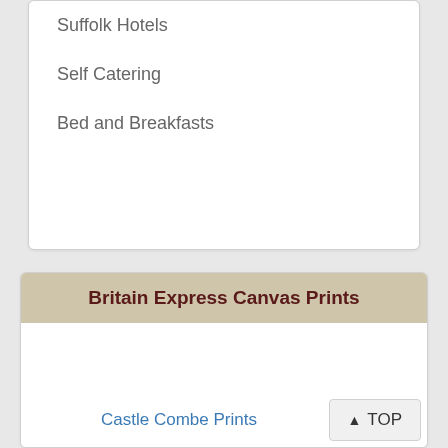Suffolk Hotels
Self Catering
Bed and Breakfasts
Britain Express Canvas Prints
[Figure (other): Empty white canvas area for prints]
Castle Combe Prints
▲ TOP